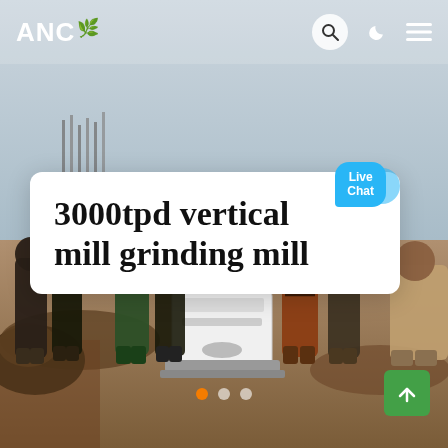[Figure (photo): Website screenshot showing an ANC branded page with a photo of workers standing around industrial milling equipment at a construction site. The page has a header with ANC logo, search, moon, and menu icons. A white card overlays the photo with the title '3000tpd vertical mill grinding mill' and a Live Chat button. Slideshow navigation dots and a green scroll-to-top button are visible at the bottom.]
3000tpd vertical mill grinding mill